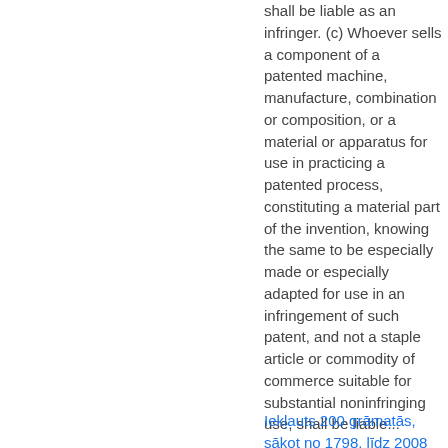shall be liable as an infringer. (c) Whoever sells a component of a patented machine, manufacture, combination or composition, or a material or apparatus for use in practicing a patented process, constituting a material part of the invention, knowing the same to be especially made or especially adapted for use in an infringement of such patent, and not a staple article or commodity of commerce suitable for substantial noninfringing use, shall be liable...
Iekļauts 200 grāmatās, sākot no 1798. līdz 2008